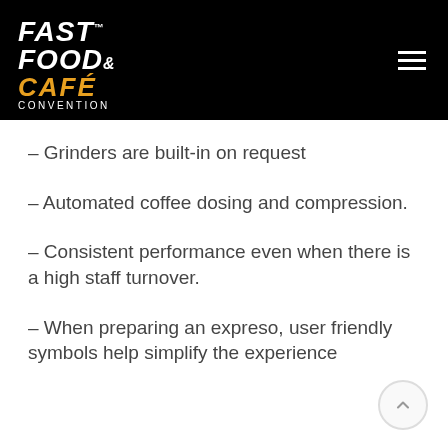Fast Food & Cafe Convention
– Grinders are built-in on request
– Automated coffee dosing and compression.
– Consistent performance even when there is a high staff turnover.
– When preparing an expreso, user friendly symbols help simplify the experience